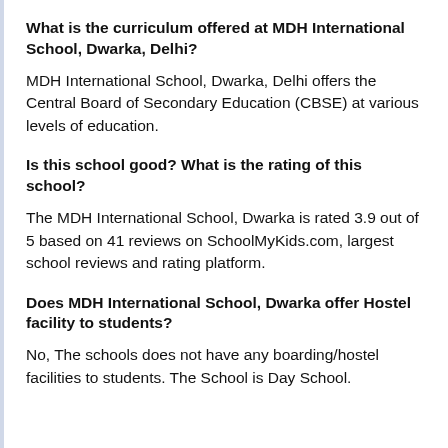What is the curriculum offered at MDH International School, Dwarka, Delhi?
MDH International School, Dwarka, Delhi offers the Central Board of Secondary Education (CBSE) at various levels of education.
Is this school good? What is the rating of this school?
The MDH International School, Dwarka is rated 3.9 out of 5 based on 41 reviews on SchoolMyKids.com, largest school reviews and rating platform.
Does MDH International School, Dwarka offer Hostel facility to students?
No, The schools does not have any boarding/hostel facilities to students. The School is Day School.